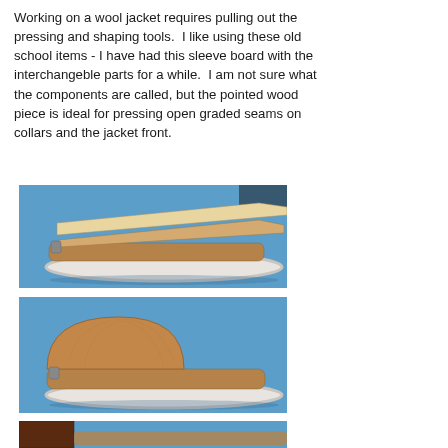Working on a wool jacket requires pulling out the pressing and shaping tools.  I like using these old school items - I have had this sleeve board with the interchangeble parts for a while.  I am not sure what the components are called, but the pointed wood piece is ideal for pressing open graded seams on collars and the jacket front.
[Figure (photo): Wooden sleeve board pressing tool with a pointed piece and padded board on blue fabric background]
[Figure (photo): Wooden sleeve board with a rounded half-circle cork/wood attachment and flat board on blue fabric background]
[Figure (photo): Partial view of another pressing tool or sleeve board attachment on blue fabric, with dark wood visible at left]